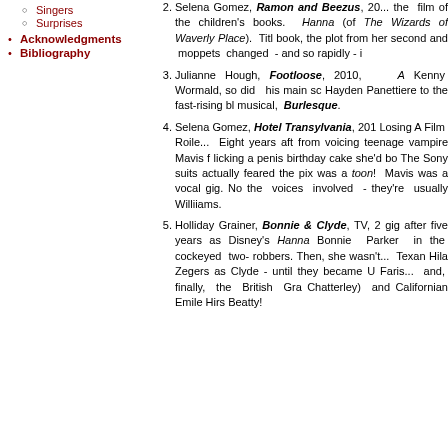Singers
Surprises
Acknowledgments
Bibliography
Selena Gomez, Ramon and Beezus, 20... the film of the children's books. Hanna (of The Wizards of Waverly Place). Titl book, the plot from her second and moppets changed - and so rapidly - i
Julianne Hough, Footloose, 2010, A Kenny Wormald, so did his main sc Hayden Panettiere to the fast-rising bl musical, Burlesque.
Selena Gomez, Hotel Transylvania, 201 Losing A Film Roile... Eight years aft from voicing teenage vampire Mavis f licking a penis birthday cake she'd bo The Sony suits actually feared the pix was a toon! Mavis was a vocal gig. No the voices involved - they're usually Williiams.
Holliday Grainer, Bonnie & Clyde, TV, 2 gig after five years as Disney's Hanna Bonnie Parker in the cockeyed two- robbers. Then, she wasn't... Texan Hila Zegers as Clyde - until they became U Faris... and, finally, the British Gra Chatterley) and Californian Emile Hirs Beatty!